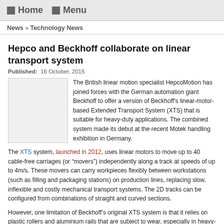Home  Menu
News » Technology News
Hepco and Beckhoff collaborate on linear transport system
Published:  16 October, 2015
[Figure (photo): Thumbnail image placeholder for the article]
The British linear motion specialist HepcoMotion has joined forces with the German automation giant Beckhoff to offer a version of Beckhoff's linear-motor-based Extended Transport System (XTS) that is suitable for heavy-duty applications. The combined system made its debut at the recent Motek handling exhibition in Germany.
The XTS system, launched in 2012, uses linear motors to move up to 40 cable-free carriages (or “movers”) independently along a track at speeds of up to 4m/s. These movers can carry workpieces flexibly between workstations (such as filling and packaging stations) on production lines, replacing slow, inflexible and costly mechanical transport systems. The 2D tracks can be configured from combinations of straight and curved sections.
However, one limitation of Beckhoff’s original XTS system is that it relies on plastic rollers and aluminium rails that are subject to wear, especially in heavy-duty applications.